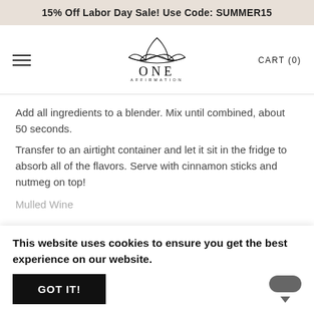15% Off Labor Day Sale! Use Code: SUMMER15
[Figure (logo): One Affirmation lotus flower logo with text ONE AFFIRMATION]
Add all ingredients to a blender. Mix until combined, about 50 seconds.
Transfer to an airtight container and let it sit in the fridge to absorb all of the flavors. Serve with cinnamon sticks and nutmeg on top!
Mulled Wine
This website uses cookies to ensure you get the best experience on our website.